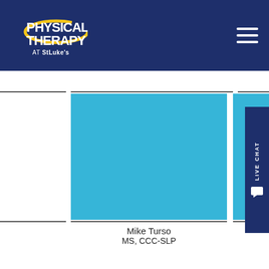Physical Therapy at St Luke's
[Figure (photo): Photo placeholder for Mike Turso - cyan/light blue background]
[Figure (photo): Photo placeholder for Erin Verdon - cyan/light blue background]
Mike Turso
MS, CCC-SLP
Erin Verdon
MS, OTR/L